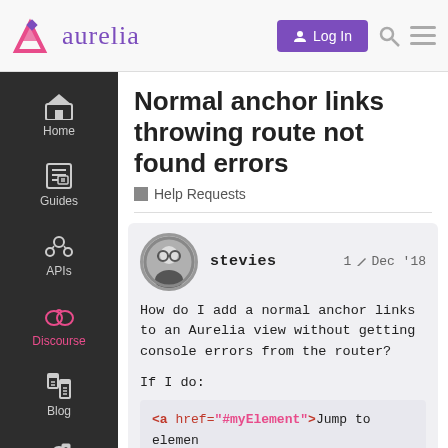aurelia — Log In
Normal anchor links throwing route not found errors
Help Requests
stevies   1  Dec '18
How do I add a normal anchor links to an Aurelia view without getting console errors from the router?
If I do:
<a href="#myElement">Jump to elemen
...
<input id="myElement">